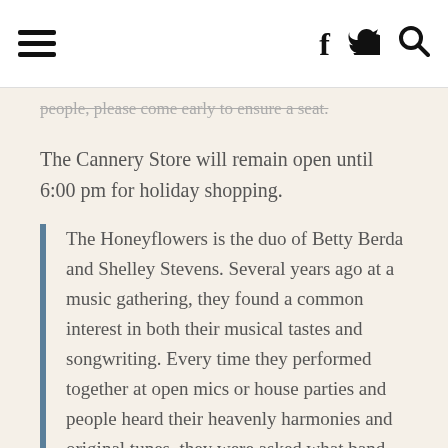Menu | Facebook | Twitter | Search
people, please come early to ensure a seat.
The Cannery Store will remain open until 6:00 pm for holiday shopping.
The Honeyflowers is the duo of Betty Berda and Shelley Stevens. Several years ago at a music gathering, they found a common interest in both their musical tastes and songwriting. Every time they performed together at open mics or house parties and people heard their heavenly harmonies and original tunes, they were asked what band they were in and where they were playing next. As a result, The Honeyflowers were born.
Betty started singing as a young child. She picked up the guitar at 16 and played in